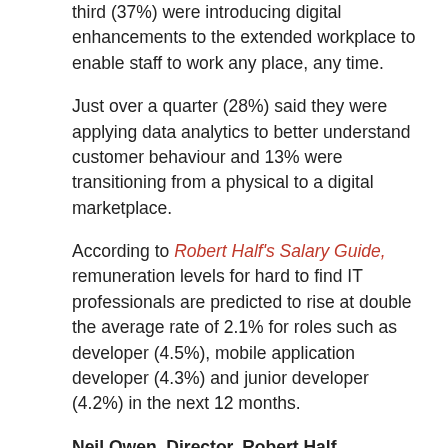third (37%) were introducing digital enhancements to the extended workplace to enable staff to work any place, any time.
Just over a quarter (28%) said they were applying data analytics to better understand customer behaviour and 13% were transitioning from a physical to a digital marketplace.
According to Robert Half's Salary Guide, remuneration levels for hard to find IT professionals are predicted to rise at double the average rate of 2.1% for roles such as developer (4.5%), mobile application developer (4.3%) and junior developer (4.2%) in the next 12 months.
Neil Owen, Director, Robert Half Technology, commented: “The partnership between business transformation projects and the IT department continues as technology has become an integral part of doing business in today’s world. With increased investment into new technology platforms that support